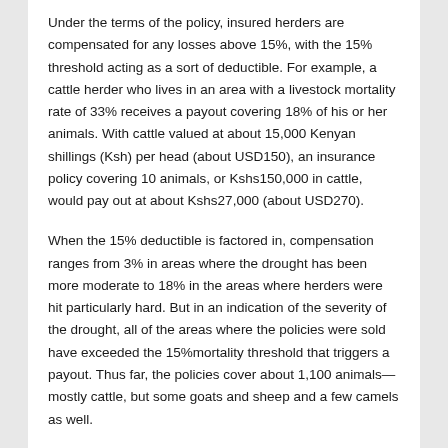Under the terms of the policy, insured herders are compensated for any losses above 15%, with the 15% threshold acting as a sort of deductible. For example, a cattle herder who lives in an area with a livestock mortality rate of 33% receives a payout covering 18% of his or her animals. With cattle valued at about 15,000 Kenyan shillings (Ksh) per head (about USD150), an insurance policy covering 10 animals, or Kshs150,000 in cattle, would pay out at about Kshs27,000 (about USD270).
When the 15% deductible is factored in, compensation ranges from 3% in areas where the drought has been more moderate to 18% in the areas where herders were hit particularly hard. But in an indication of the severity of the drought, all of the areas where the policies were sold have exceeded the 15%mortality threshold that triggers a payout. Thus far, the policies cover about 1,100 animals—mostly cattle, but some goats and sheep and a few camels as well.
The payments are being dispatched in the middle of a